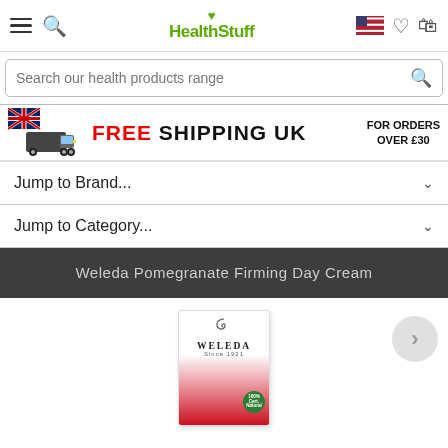[Figure (screenshot): HealthStuff e-commerce website header with navigation bar showing hamburger menu, search icon, HealthStuff logo with heart, US flag, heart wishlist icon, and shopping bag icon]
[Figure (screenshot): Search bar with placeholder text 'Search our health products range' and search icon on the right]
[Figure (infographic): Free shipping UK banner with UK flag and delivery truck icon, FREE SHIPPING UK text, and FOR ORDERS OVER £30 text on the right]
Jump to Brand...
Jump to Category...
Weleda Pomegranate Firming Day Cream
[Figure (photo): Weleda Pomegranate Firming Day Cream product box with Weleda logo and red gradient packaging, 100% certified natural badge, and navigation arrow]